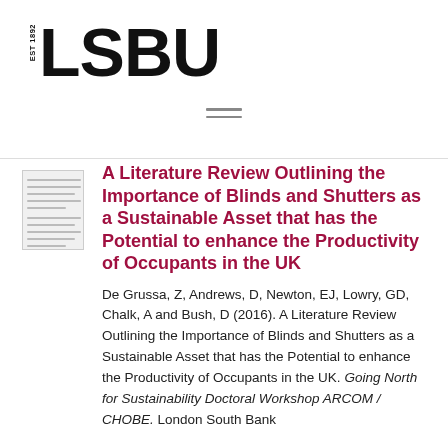[Figure (logo): LSBU logo with EST 1892 text in vertical orientation and bold LSBU wordmark]
[Figure (other): Hamburger menu icon with two horizontal lines]
A Literature Review Outlining the Importance of Blinds and Shutters as a Sustainable Asset that has the Potential to enhance the Productivity of Occupants in the UK
De Grussa, Z, Andrews, D, Newton, EJ, Lowry, GD, Chalk, A and Bush, D (2016). A Literature Review Outlining the Importance of Blinds and Shutters as a Sustainable Asset that has the Potential to enhance the Productivity of Occupants in the UK. Going North for Sustainability Doctoral Workshop ARCOM / CHOBE. London South Bank